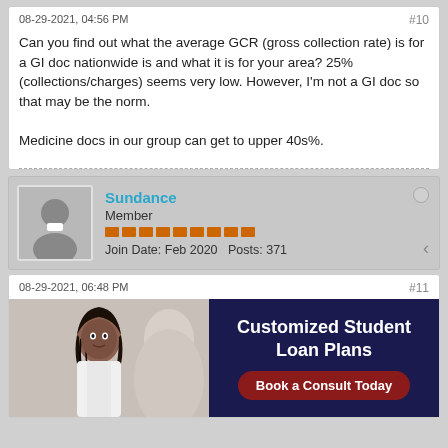08-29-2021, 04:56 PM
#10
Can you find out what the average GCR (gross collection rate) is for a GI doc nationwide is and what it is for your area? 25% (collections/charges) seems very low. However, I'm not a GI doc so that may be the norm.

Medicine docs in our group can get to upper 40s%.
Sundance
Member
Join Date: Feb 2020   Posts: 371
08-29-2021, 06:48 PM
#11
[Figure (advertisement): Advertisement banner for Customized Student Loan Plans with photo of a young woman in a white coat and a dark navy background with text 'Customized Student Loan Plans' and a red button 'Book a Consult Today']